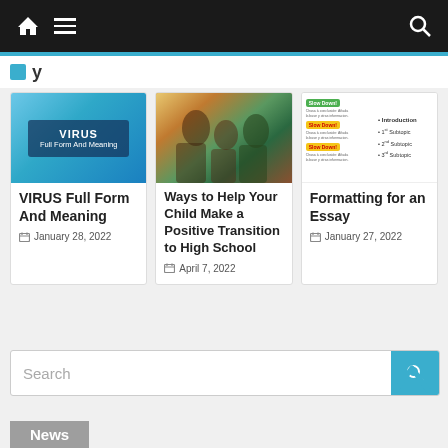Navigation bar with home icon, menu, and search
[Figure (screenshot): VIRUS Full Form And Meaning article thumbnail - blue geometric background with text box]
VIRUS Full Form And Meaning
January 28, 2022
[Figure (photo): Teacher helping children - teacher and two young students looking at something together]
Ways to Help Your Child Make a Positive Transition to High School
April 7, 2022
[Figure (screenshot): Formatting for an Essay thumbnail - showing essay structure with Introduction, 1st Subtopic, 2nd Subtopic, 3rd Subtopic]
Formatting for an Essay
January 27, 2022
Search
News